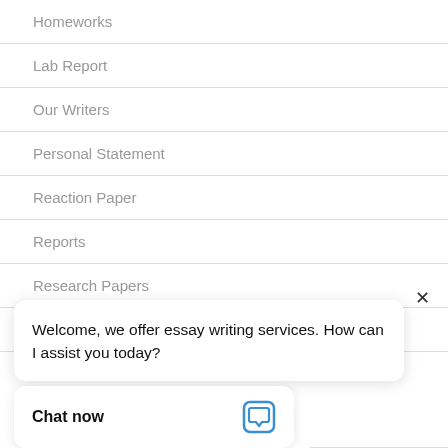Homeworks
Lab Report
Our Writers
Personal Statement
Reaction Paper
Reports
Research Papers
Reviews
Welcome, we offer essay writing services. How can I assist you today?
Chat now